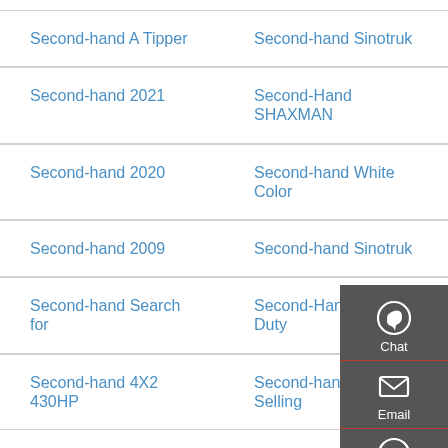Second-hand A Tipper
Second-hand Sinotruk
Second-hand 2021
Second-Hand SHAXMAN
Second-hand 2020
Second-hand White Color
Second-hand 2009
Second-hand Sinotruk
Second-hand Search for
Second-Hand Heavy Duty
Second-hand 4X2 430HP
Second-hand Hot Selling